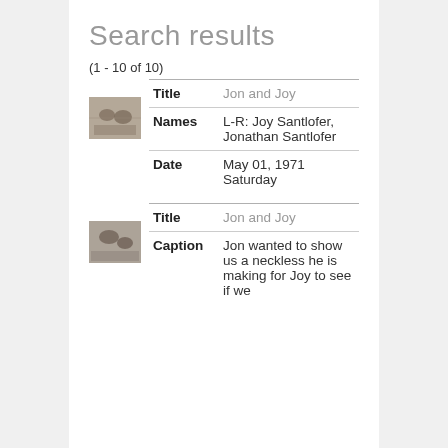Search results
(1 - 10 of 10)
[Figure (photo): Thumbnail photo of Jon and Joy, result 1]
| Field | Value |
| --- | --- |
| Title | Jon and Joy |
| Names | L-R: Joy Santlofer, Jonathan Santlofer |
| Date | May 01, 1971 Saturday |
[Figure (photo): Thumbnail photo of Jon and Joy, result 2]
| Field | Value |
| --- | --- |
| Title | Jon and Joy |
| Caption | Jon wanted to show us a neckless he is making for Joy to see if we |